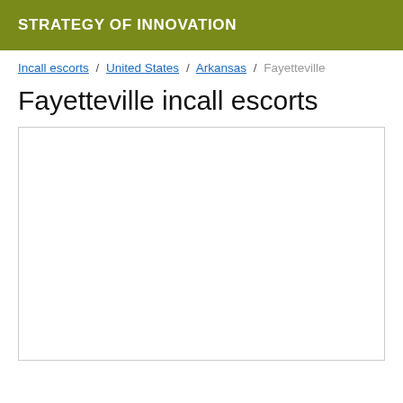STRATEGY OF INNOVATION
Incall escorts / United States / Arkansas / Fayetteville
Fayetteville incall escorts
[Figure (other): Empty white content box with border]